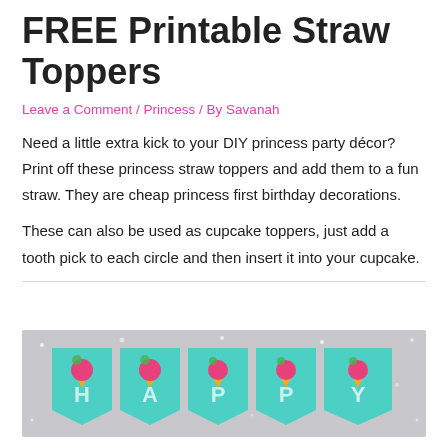FREE Printable Straw Toppers
Leave a Comment / Princess / By Savanah
Need a little extra kick to your DIY princess party décor? Print off these princess straw toppers and add them to a fun straw. They are cheap princess first birthday decorations.
These can also be used as cupcake toppers, just add a tooth pick to each circle and then insert it into your cupcake.
[Figure (photo): A teal/turquoise birthday banner with ice cream cone decorations spelling out HAPPY, set against a sparkly grey background.]